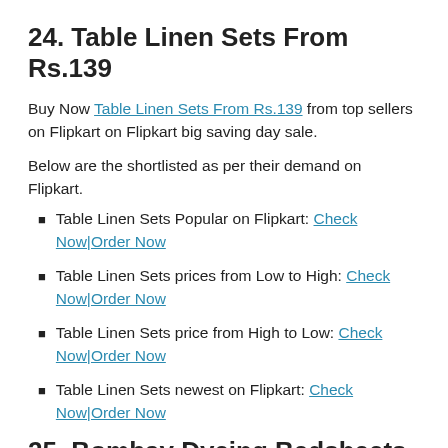24. Table Linen Sets From Rs.139
Buy Now Table Linen Sets From Rs.139 from top sellers on Flipkart on Flipkart big saving day sale.
Below are the shortlisted as per their demand on Flipkart.
Table Linen Sets Popular on Flipkart: Check Now|Order Now
Table Linen Sets prices from Low to High: Check Now|Order Now
Table Linen Sets price from High to Low: Check Now|Order Now
Table Linen Sets newest on Flipkart: Check Now|Order Now
25. Bombay Dyeing Bedsheets From Rs. 419